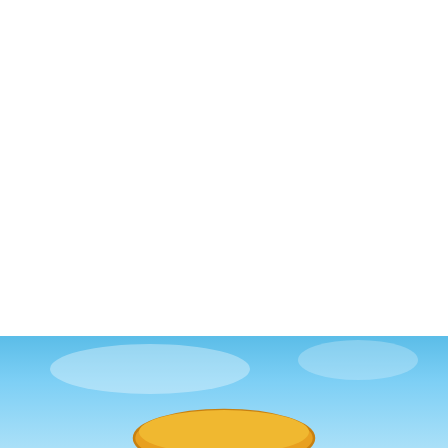[Figure (screenshot): White upper portion of a mobile game screenshot showing sky background]
WORD CONUNDRUM
8 LETTERS  # 29 OF 200
2080